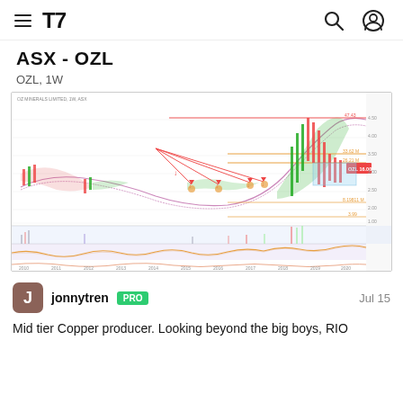TradingView navigation header with hamburger menu, TV logo, search icon, user icon
ASX - OZL
OZL, 1W
[Figure (continuous-plot): Weekly price chart for OZL (OZ Minerals Limited) on ASX from 2010 to 2024. Chart shows candlestick price action with green/red candles, moving average ribbons (pink/purple), volume bars at bottom, and two oscillator panels below. Red trend lines drawn from 2016 peak pointing down to multiple lows. Orange horizontal support/resistance lines. Light blue shaded region in late 2022. Price rose sharply in 2021-2022 then fell back. Y-axis shows price levels. X-axis shows years from 2010 to 2024.]
jonnytren PRO   Jul 15
Mid tier Copper producer. Looking beyond the big boys, RIO